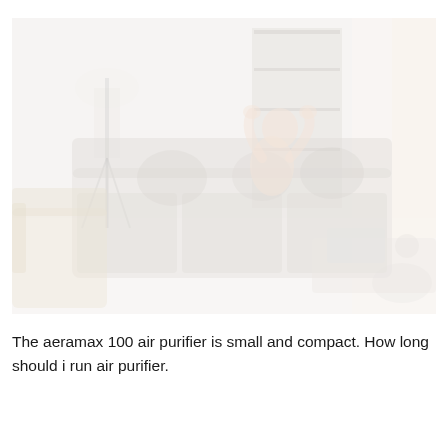[Figure (photo): A faded/washed-out lifestyle photo of a person relaxing on a sofa in a bright living room with a floor lamp, shelving unit, armchair, coffee table with laptop and mug, and curtains in the background.]
The aeramax 100 air purifier is small and compact. How long should i run air purifier.